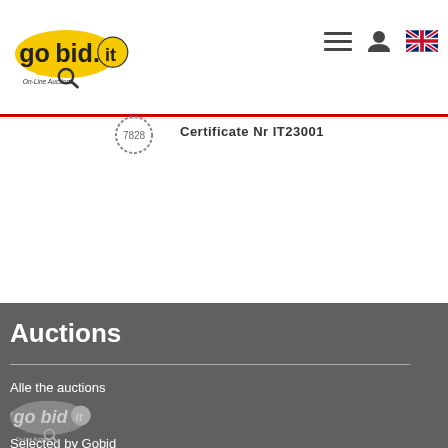[Figure (logo): gobid.it On-Line Auctions logo — yellow speech bubble with 'gobid.it' text and magnifying glass]
[Figure (infographic): Hamburger menu icon, user profile icon, and UK flag icon in the top navigation bar]
Certificate Nr IT23001
Auctions
Alle the auctions
Calendar
Selected by Gobid
Notices
Categories
[Figure (logo): gobid.it On-Line Auctions logo in grey/white tones for dark background footer]